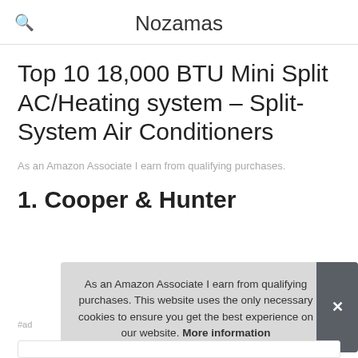Nozamas
Top 10 18,000 BTU Mini Split AC/Heating system – Split-System Air Conditioners
As an Amazon Associate I earn from qualifying purchases.
1. Cooper & Hunter
#ad
As an Amazon Associate I earn from qualifying purchases. This website uses the only necessary cookies to ensure you get the best experience on our website. More information